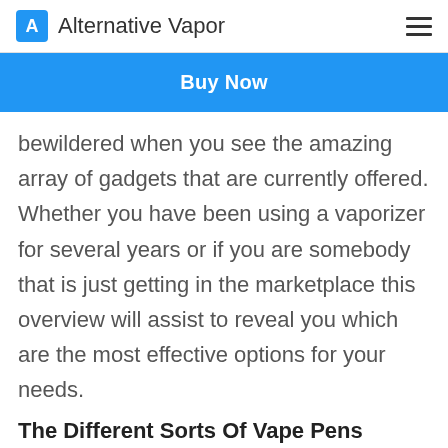Alternative Vapor
Buy Now
bewildered when you see the amazing array of gadgets that are currently offered. Whether you have been using a vaporizer for several years or if you are somebody that is just getting in the marketplace this overview will assist to reveal you which are the most effective options for your needs.
The Different Sorts Of Vape Pens